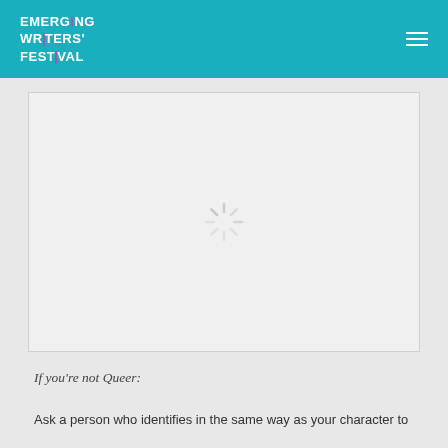EMERGING WRITERS' FESTIVAL
[Figure (other): Loading spinner / image placeholder on a light grey background]
If you're not Queer:
Ask a person who identifies in the same way as your character to